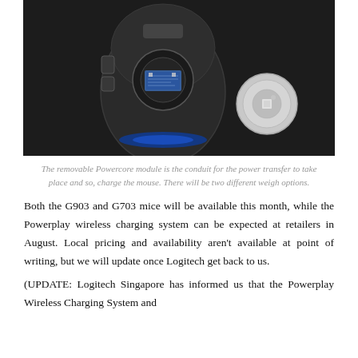[Figure (photo): Bottom view of a gaming mouse (Logitech G903/G703) with the Powercore module removed, placed on a dark surface. The circular removable Powercore module is shown separately to the right of the mouse.]
The removable Powercore module is the conduit for the power transfer to take place and so, charge the mouse. There will be two different weigh options.
Both the G903 and G703 mice will be available this month, while the Powerplay wireless charging system can be expected at retailers in August. Local pricing and availability aren't available at point of writing, but we will update once Logitech get back to us.
(UPDATE: Logitech Singapore has informed us that the Powerplay Wireless Charging System and